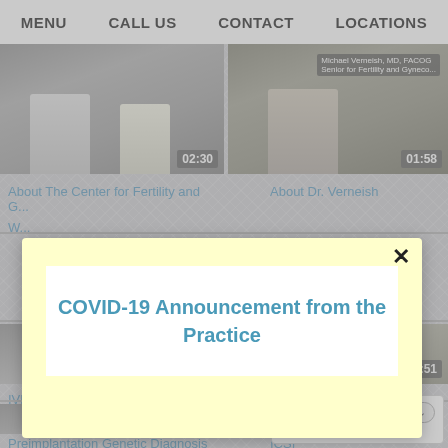MENU  CALL US  CONTACT  LOCATIONS
[Figure (screenshot): Two video thumbnails side by side showing medical professionals; left thumbnail shows duration 02:30, right shows 01:58 with name tag 'Michael Verneish, MD, FACOG']
About The Center for Fertility and G...
About Dr. Verneish
W...
[Figure (screenshot): Modal popup with yellow background showing COVID-19 announcement with close button (X). Title reads: COVID-19 Announcement from the Practice]
COVID-19 Announcement from the Practice
[Figure (screenshot): Video thumbnail bottom left with duration badge 02:09]
[Figure (screenshot): Video thumbnail bottom right with duration badge 3:51]
IVF
Intralipid Therapy
[Figure (screenshot): Video thumbnail with duration badge 02:41]
Preimplantation Genetic Diagnosis
ICSI
[Figure (other): Google Translate widget with Select Language dropdown]